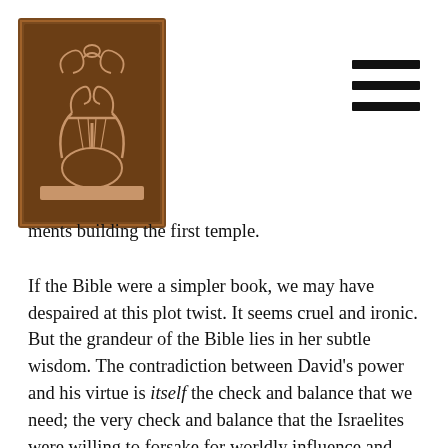[Logo image and hamburger menu]
ments building the first temple.
If the Bible were a simpler book, we may have despaired at this plot twist. It seems cruel and ironic. But the grandeur of the Bible lies in her subtle wisdom. The contradiction between David's power and his virtue is itself the check and balance that we need; the very check and balance that the Israelites were willing to forsake for worldly influence and stability.
The Bible doesn't expect David to be perfect; but it expects him to be good. We know David as the Psalmist with the rich and turbulent inner life that makes clear his connection